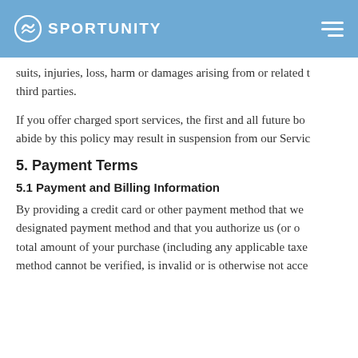SPORTUNITY
suits, injuries, loss, harm or damages arising from or related to third parties.
If you offer charged sport services, the first and all future bo... abide by this policy may result in suspension from our Servic...
5. Payment Terms
5.1 Payment and Billing Information
By providing a credit card or other payment method that we... designated payment method and that you authorize us (or o... total amount of your purchase (including any applicable taxe... method cannot be verified, is invalid or is otherwise not acce...